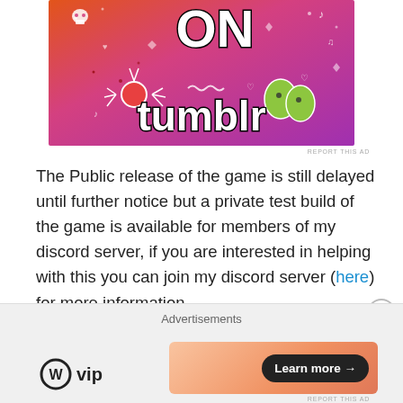[Figure (illustration): Tumblr advertisement banner with colorful gradient background (orange to pink/purple), doodle icons (skull, spider, leaves, musical notes, arrows, hearts), large white bold text 'ON tumblr' with black outline.]
The Public release of the game is still delayed until further notice but a private test build of the game is available for members of my discord server, if you are interested in helping with this you can join my discord server (here) for more information.
Thing Team: Richard2410, Arteaga
[Figure (advertisement): Advertisements bar at bottom: WordPress VIP logo on left, coral/peach gradient banner on right with black 'Learn more →' button.]